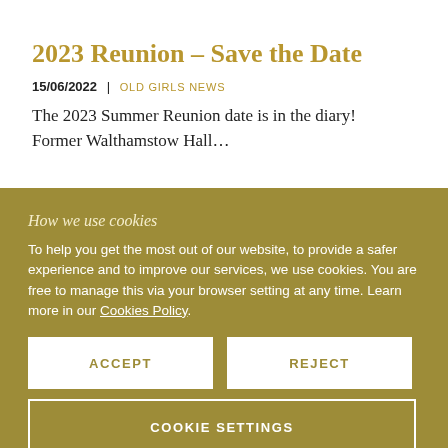2023 Reunion – Save the Date
15/06/2022 | OLD GIRLS NEWS
The 2023 Summer Reunion date is in the diary! Former Walthamstow Hall…
How we use cookies
To help you get the most out of our website, to provide a safer experience and to improve our services, we use cookies. You are free to manage this via your browser setting at any time. Learn more in our Cookies Policy.
ACCEPT
REJECT
COOKIE SETTINGS